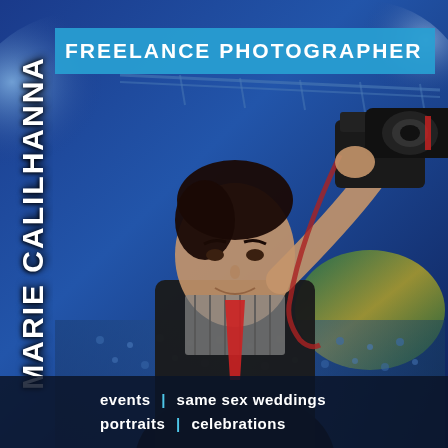[Figure (photo): Woman holding a DSLR camera up, smiling, wearing a black jacket with striped shirt and red tie, photographed against a colorful event/concert background with crowd and lights]
MARIE CALILHANNA
FREELANCE PHOTOGRAPHER
events | same sex weddings
portraits | celebrations